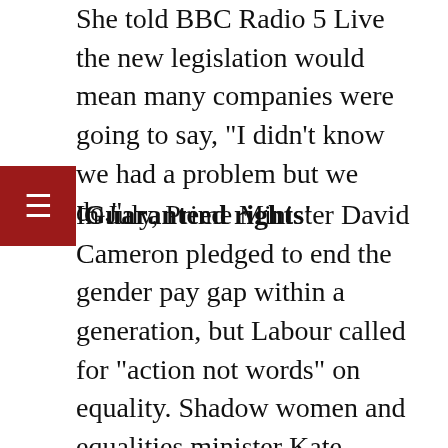She told BBC Radio 5 Live the new legislation would mean many companies were going to say, "I didn't know we had a problem but we do."
'Guaranteed rights'
In July, Prime Minister David Cameron pledged to end the gender pay gap within a generation, but Labour called for "action not words" on equality. Shadow women and equalities minister Kate Green said the gender pay gap was nearly 20% more than the European average.
"British women don't need warm words - we need guaranteed rights at work, properly enforced," she said.
CBI director for employment and skills Neil Carberry said eradicating the gender pay gap was an important goal, but reporting must be "relevant